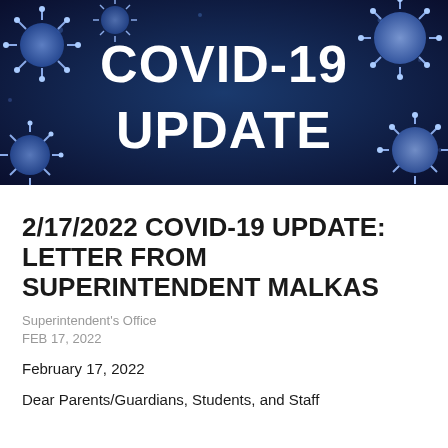[Figure (photo): Dark blue background with illustrated coronavirus/COVID-19 particles. Bold white text reads 'COVID-19 UPDATE'.]
2/17/2022 COVID-19 UPDATE: LETTER FROM SUPERINTENDENT MALKAS
Superintendent's Office
FEB 17, 2022
February 17, 2022
Dear Parents/Guardians, Students, and Staff